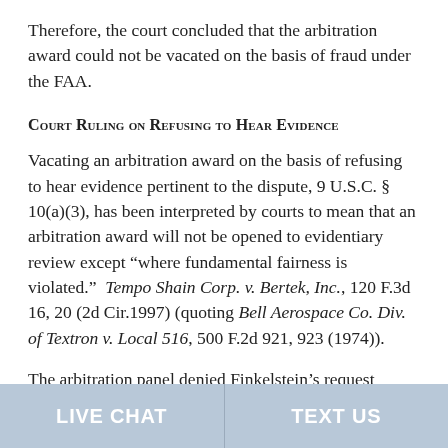Therefore, the court concluded that the arbitration award could not be vacated on the basis of fraud under the FAA.
Court Ruling on Refusing to Hear Evidence
Vacating an arbitration award on the basis of refusing to hear evidence pertinent to the dispute, 9 U.S.C. § 10(a)(3), has been interpreted by courts to mean that an arbitration award will not be opened to evidentiary review except “where fundamental fairness is violated.” Tempo Shain Corp. v. Bertek, Inc., 120 F.3d 16, 20 (2d Cir.1997) (quoting Bell Aerospace Co. Div. of Textron v. Local 516, 500 F.2d 921, 923 (1974)).
The arbitration panel denied Finkelstein’s request for production of evidence…
LIVE CHAT | TEXT US